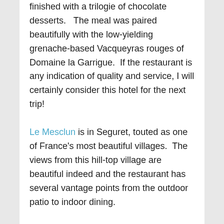finished with a trilogie of chocolate desserts.   The meal was paired beautifully with the low-yielding grenache-based Vacqueyras rouges of Domaine la Garrigue.  If the restaurant is any indication of quality and service, I will certainly consider this hotel for the next trip!
Le Mesclun is in Seguret, touted as one of France's most beautiful villages.  The views from this hill-top village are beautiful indeed and the restaurant has several vantage points from the outdoor patio to indoor dining.